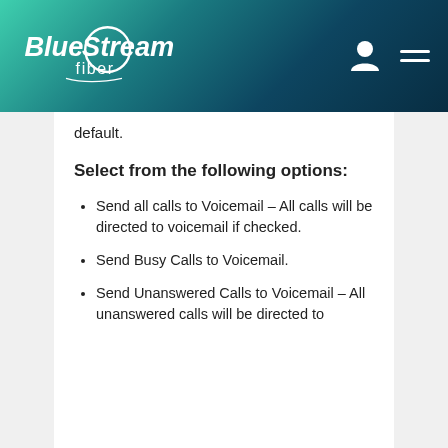Blue Stream fiber
default.
Select from the following options:
Send all calls to Voicemail – All calls will be directed to voicemail if checked.
Send Busy Calls to Voicemail.
Send Unanswered Calls to Voicemail – All unanswered calls will be directed to